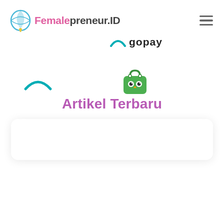Femalepreneur.ID
[Figure (logo): GoPay logo with teal arc and bold lowercase gopay text]
[Figure (logo): Gojek partial arc logo (teal/blue)]
[Figure (logo): Tokopedia green shopping bag with owl eyes icon]
Artikel Terbaru